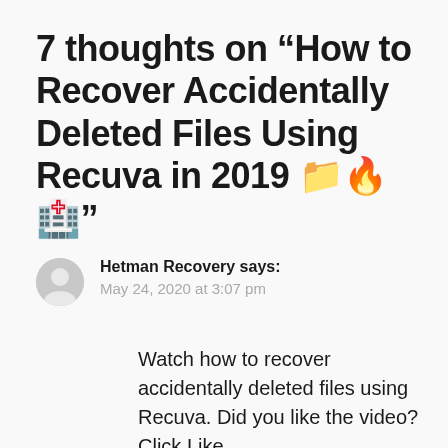7 thoughts on “How to Recover Accidentally Deleted Files Using Recuva in 2019 📁🔥🏥”
Hetman Recovery says:
May 24, 2020 at 3:07 pm
Watch how to recover accidentally deleted files using Recuva. Did you like the video? Click Like